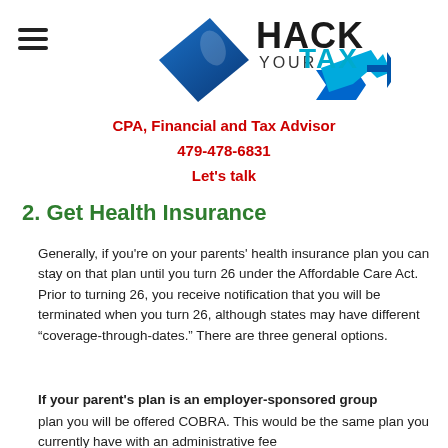[Figure (logo): Hack Your Tax logo with blue arrow/diamond shape and text 'HACK YOUR TAX' with 'TAX' in cyan/blue]
CPA, Financial and Tax Advisor
479-478-6831
Let's talk
2. Get Health Insurance
Generally, if you're on your parents' health insurance plan you can stay on that plan until you turn 26 under the Affordable Care Act.  Prior to turning 26, you receive notification that you will be terminated when you turn 26, although states may have different “coverage-through-dates.” There are three general options.
If your parent's plan is an employer-sponsored group plan you will be offered COBRA.  This would be the same plan you currently have with an administrative fee